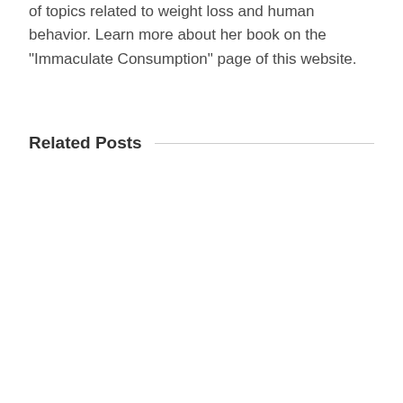of topics related to weight loss and human behavior. Learn more about her book on the "Immaculate Consumption" page of this website.
Related Posts